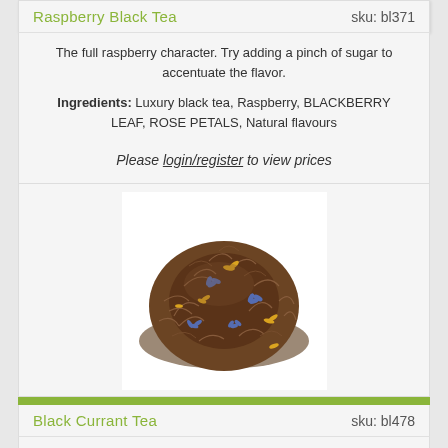Raspberry Black Tea    sku: bl371
The full raspberry character. Try adding a pinch of sugar to accentuate the flavor.
Ingredients: Luxury black tea, Raspberry, BLACKBERRY LEAF, ROSE PETALS, Natural flavours
Please login/register to view prices
[Figure (photo): Loose leaf black tea blend with blue and yellow flower petals scattered throughout, shown as a pile against a white background]
Black Currant Tea    sku: bl478
Deep black currant aroma and flavor. Just imagine a currant bush full of